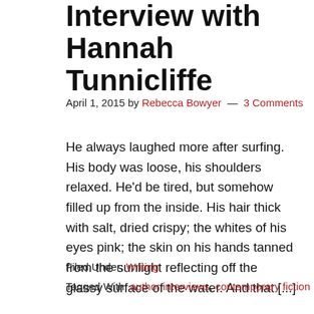Interview with Hannah Tunnicliffe
April 1, 2015 by Rebecca Bowyer — 3 Comments
He always laughed more after surfing. His body was loose, his shoulders relaxed. He'd be tired, but somehow filled up from the inside. His hair thick with salt, dried crispy; the whites of his eyes pink; the skin on his hands tanned from the sunlight reflecting off the glassy surface of the water. And that [...]
Filed Under: Writing
Tagged With: author interviews, contemporary fiction